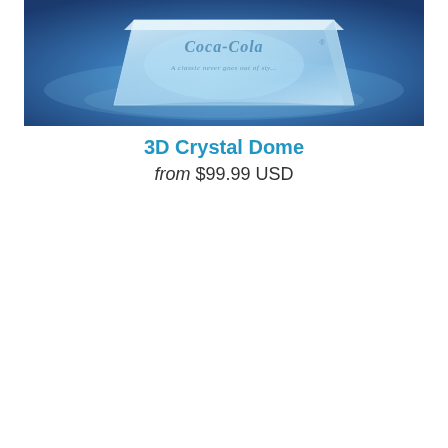[Figure (photo): A 3D crystal dome/block with the Coca-Cola logo and the text 'A classic never goes out of style' laser-engraved inside, illuminated with blue light against a blue background.]
3D Crystal Dome
from $99.99 USD